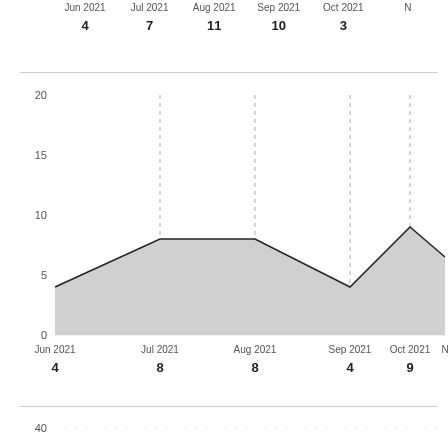[Figure (area-chart): ]
[Figure (area-chart): ]
[Figure (area-chart): ]